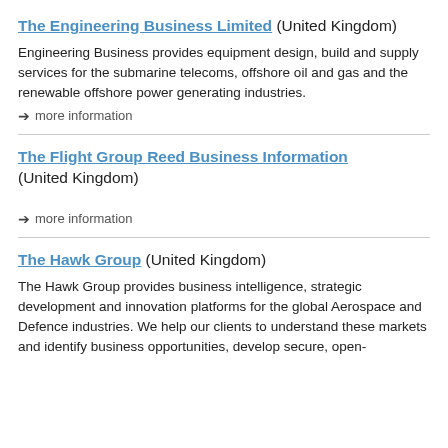The Engineering Business Limited (United Kingdom)
Engineering Business provides equipment design, build and supply services for the submarine telecoms, offshore oil and gas and the renewable offshore power generating industries.
➔ more information
The Flight Group Reed Business Information (United Kingdom)
➔ more information
The Hawk Group (United Kingdom)
The Hawk Group provides business intelligence, strategic development and innovation platforms for the global Aerospace and Defence industries. We help our clients to understand these markets and identify business opportunities, develop secure, open-